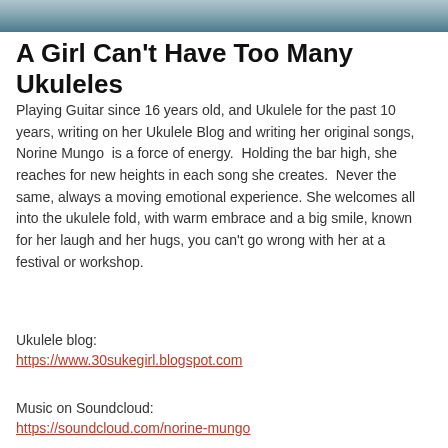[Figure (photo): Cropped photo strip at top of page showing a person with a ukulele]
A Girl Can't Have Too Many Ukuleles
Playing Guitar since 16 years old, and Ukulele for the past 10 years, writing on her Ukulele Blog and writing her original songs, Norine Mungo  is a force of energy.  Holding the bar high, she reaches for new heights in each song she creates.  Never the same, always a moving emotional experience. She welcomes all into the ukulele fold, with warm embrace and a big smile, known for her laugh and her hugs, you can't go wrong with her at a festival or workshop.
Ukulele blog:
https://www.30sukegirl.blogspot.com
Music on Soundcloud:
https://soundcloud.com/norine-mungo